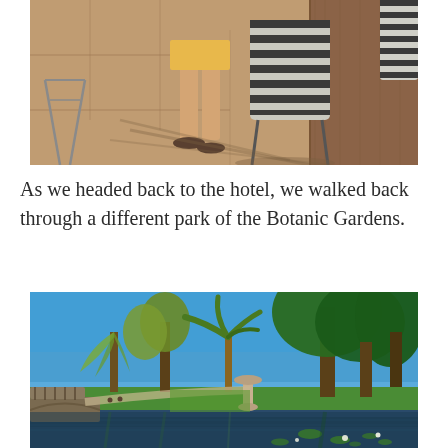[Figure (photo): Outdoor patio scene with chairs and a person wearing flip-flops standing on a paved stone surface with dappled sunlight and shadows. A striped chair and a wooden wall visible in background.]
As we headed back to the hotel, we walked back through a different park of the Botanic Gardens.
[Figure (photo): Scenic view of the Botanic Gardens on a bright sunny day with blue sky. A calm pond with lily pads in the foreground, a stone fountain in the middle, green lawns, willow trees, palm trees and large leafy trees in the background. A small arched bridge visible to the left.]